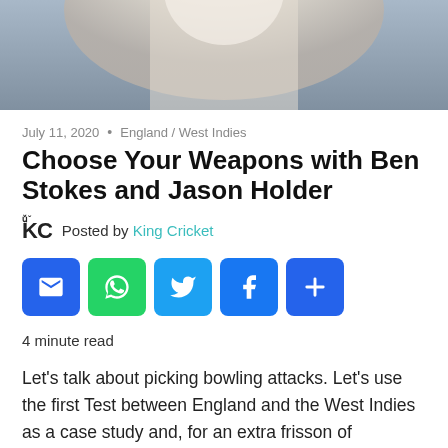[Figure (photo): Cropped photo of a cricket player in white clothing, likely a bowler in action, with blurred background]
July 11, 2020 • England / West Indies
Choose Your Weapons with Ben Stokes and Jason Holder
Posted by King Cricket
[Figure (infographic): Row of social share buttons: Email (blue), WhatsApp (green), Twitter (blue), Facebook (blue), More (blue)]
4 minute read
Let's talk about picking bowling attacks. Let's use the first Test between England and the West Indies as a case study and, for an extra frisson of excitement, let's do this halfway through the game